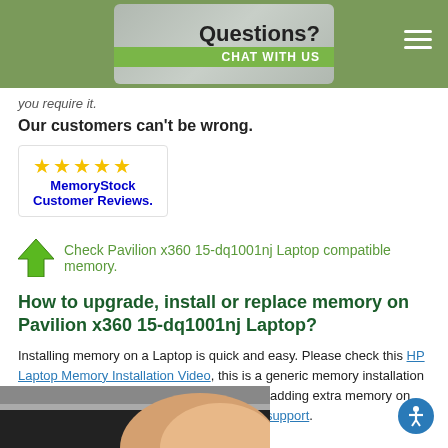Questions? CHAT WITH US
you require it.
Our customers can't be wrong.
[Figure (illustration): Five gold stars with MemoryStock Customer Reviews logo badge]
Check Pavilion x360 15-dq1001nj Laptop compatible memory.
How to upgrade, install or replace memory on Pavilion x360 15-dq1001nj Laptop?
Installing memory on a Laptop is quick and easy. Please check this HP Laptop Memory Installation Video, this is a generic memory installation procedure for HP Laptop. For more help on adding extra memory on Pavilion x360 15-dq1001nj contact our live support.
[Figure (photo): Hands working on laptop memory installation]